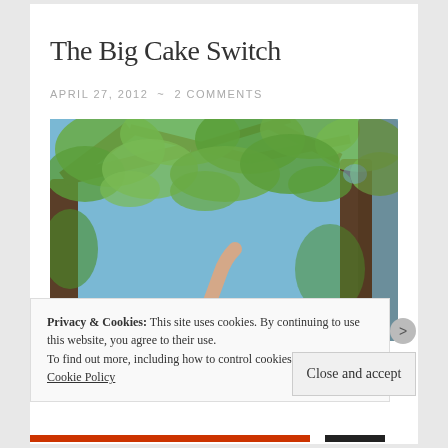The Big Cake Switch
APRIL 27, 2012 ~ 2 COMMENTS
[Figure (photo): Outdoor photograph of a large tree with green spring foliage against a blue sky, with a person reaching upward visible in the lower portion of the image.]
Privacy & Cookies: This site uses cookies. By continuing to use this website, you agree to their use.
To find out more, including how to control cookies, see here: Cookie Policy
Close and accept